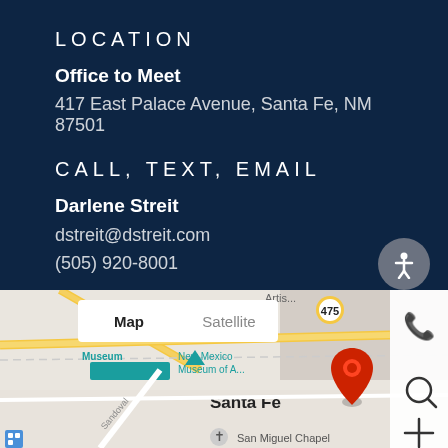LOCATION
Office to Meet
417 East Palace Avenue, Santa Fe, NM 87501
CALL, TEXT, EMAIL
Darlene Streit
dstreit@dstreit.com
(505) 920-8001
[Figure (map): Google Map showing Santa Fe, NM area with a red location pin near 417 East Palace Avenue. Shows street map with Map/Satellite toggle, Santa Fe label, New Mexico Museum of Art label, San Miguel Chapel label, and route 475. Map controls (phone, search, plus) on the right side.]